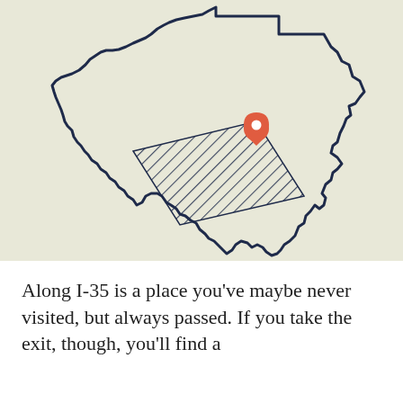[Figure (map): Outline map of Texas with a hatched/striped diagonal band running diagonally across the center of the state, representing the I-35 corridor. An orange teardrop location pin marker is placed in the central part of the state, above the hatched region, indicating a specific location along I-35.]
Along I-35 is a place you've maybe never visited, but always passed. If you take the exit, though, you'll find a